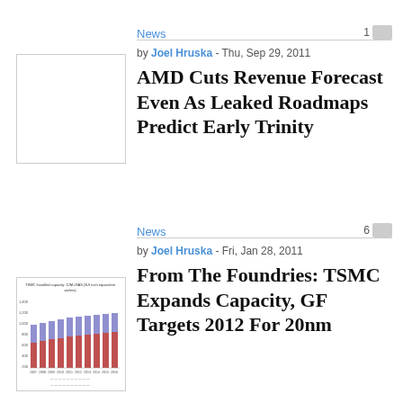News
[Figure (photo): Thumbnail image placeholder for AMD article (white/blank)]
by Joel Hruska - Thu, Sep 29, 2011
AMD Cuts Revenue Forecast Even As Leaked Roadmaps Predict Early Trinity
News
[Figure (bar-chart): TSMC installed capacity bar chart thumbnail showing blue and red bars across multiple quarters]
by Joel Hruska - Fri, Jan 28, 2011
From The Foundries: TSMC Expands Capacity, GF Targets 2012 For 20nm